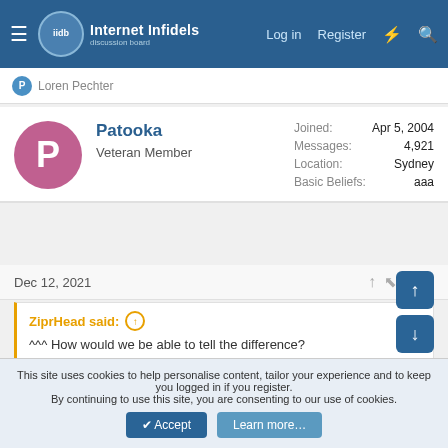Internet Infidels Discussion Board — Log in  Register
Loren Pechter
Patooka
Veteran Member
Joined: Apr 5, 2004
Messages: 4,921
Location: Sydney
Basic Beliefs: aaa
Dec 12, 2021  #228
ZiprHead said:
^^^ How would we be able to tell the difference?
That's easy. He loses the ability to say "Person. Man. Woman. Camera. TV". That's when you know his very, very large a-brain is completely fucked.
This site uses cookies to help personalise content, tailor your experience and to keep you logged in if you register.
By continuing to use this site, you are consenting to our use of cookies.
Accept  Learn more...